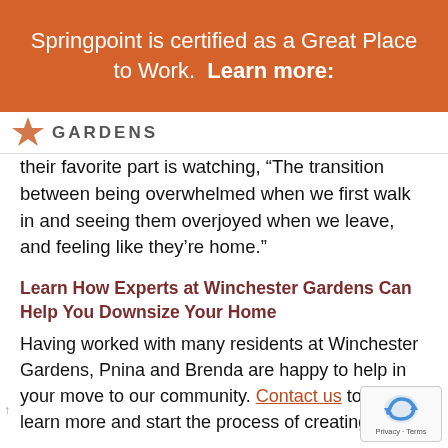Springpoint is certified as a Great Place to Work.  Learn more:
[Figure (logo): Winchester Gardens logo with star icon and GARDENS text]
their favorite part is watching, “The transition between being overwhelmed when we first walk in and seeing them overjoyed when we leave, and feeling like they’re home.”
Learn How Experts at Winchester Gardens Can Help You Downsize Your Home
Having worked with many residents at Winchester Gardens, Pnina and Brenda are happy to help in your move to our community. Contact us today to learn more and start the process of creating